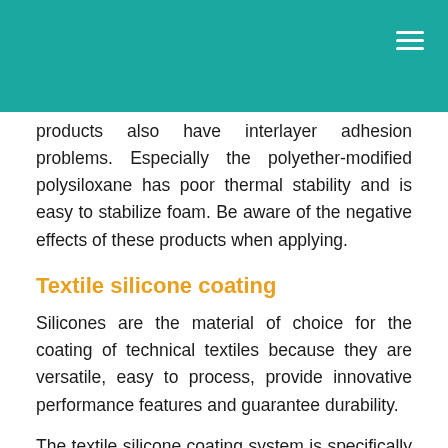products also have interlayer adhesion problems. Especially the polyether-modified polysiloxane has poor thermal stability and is easy to stabilize foam. Be aware of the negative effects of these products when applying.
Textile silicone coating
Silicones are the material of choice for the coating of technical textiles because they are versatile, easy to process, provide innovative performance features and guarantee durability.
The textile silicone coating system is specifically engineered considering the characteristics of both the